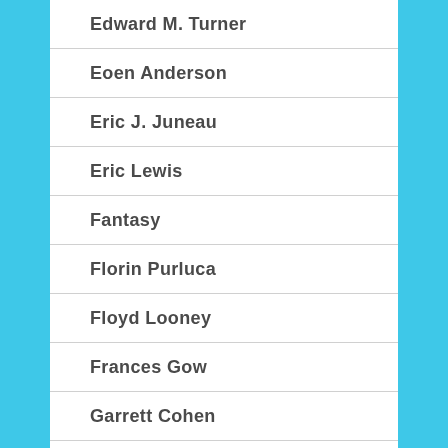Edward M. Turner
Eoen Anderson
Eric J. Juneau
Eric Lewis
Fantasy
Florin Purluca
Floyd Looney
Frances Gow
Garrett Cohen